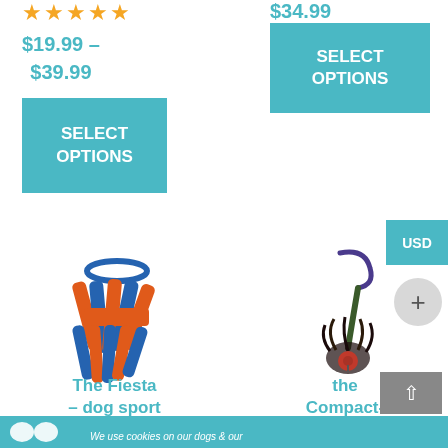★★★★★
$19.99 – $39.99
$34.99
SELECT OPTIONS
SELECT OPTIONS
USD
[Figure (photo): Orange and blue fabric tug toy for dogs (The Fiesta dog sport toy)]
[Figure (photo): Compact bird feather toy with blue loop handle and red bell (the Compact-Breathe product)]
The Fiesta – dog sport toys
the Compact-Breathe
We use cookies on our dogs & our